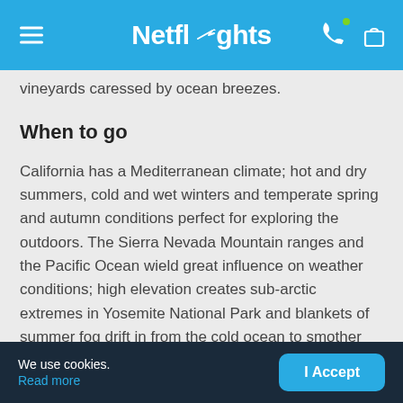Netflights
vineyards caressed by ocean breezes.
When to go
California has a Mediterranean climate; hot and dry summers, cold and wet winters and temperate spring and autumn conditions perfect for exploring the outdoors. The Sierra Nevada Mountain ranges and the Pacific Ocean wield great influence on weather conditions; high elevation creates sub-arctic extremes in Yosemite National Park and blankets of summer fog drift in from the cold ocean to smother San Diego in the early morning.
We use cookies. Read more | I Accept